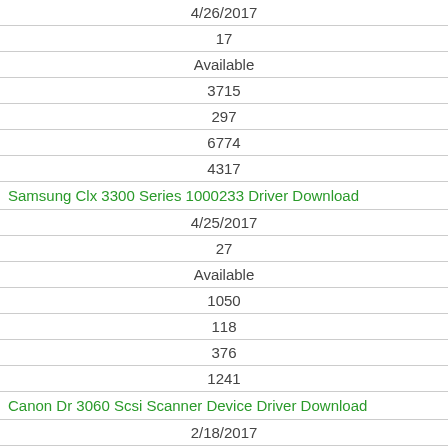| 4/26/2017 |
| 17 |
| Available |
| 3715 |
| 297 |
| 6774 |
| 4317 |
| Samsung Clx 3300 Series 1000233 Driver Download |
| 4/25/2017 |
| 27 |
| Available |
| 1050 |
| 118 |
| 376 |
| 1241 |
| Canon Dr 3060 Scsi Scanner Device Driver Download |
| 2/18/2017 |
| 17 |
| Available |
| 667 |
| 69 |
| 2472 |